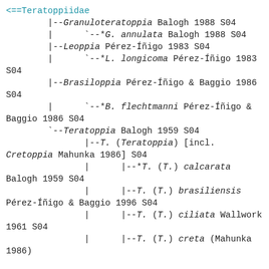<==-Teratoppiidae
        |--Granuloteratoppia Balogh 1988 S04
        |      `--*G. annulata Balogh 1988 S04
        |--Leoppia Pérez-Íñigo 1983 S04
        |      `--*L. longicoma Pérez-Íñigo 1983 S04
        |--Brasiloppia Pérez-Íñigo & Baggio 1986 S04
        |      `--*B. flechtmanni Pérez-Íñigo & Baggio 1986 S04
        `--Teratoppia Balogh 1959 S04
               |--T. (Teratoppia) [incl. Cretoppia Mahunka 1986] S04
               |      |--*T. (T.) calcarata Balogh 1959 S04
               |      |--T. (T.) brasiliensis Pérez-Íñigo & Baggio 1996 S04
               |      |--T. (T.) ciliata Wallwork 1961 S04
               |      |--T. (T.) creta (Mahunka 1986)